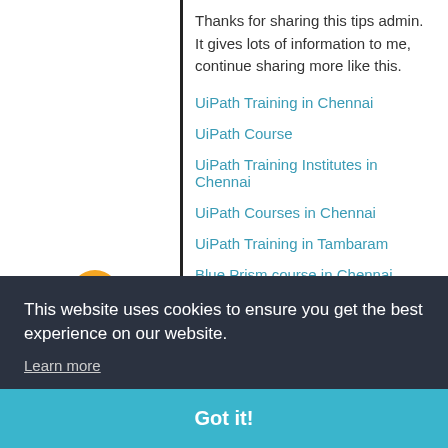Thanks for sharing this tips admin. It gives lots of information to me, continue sharing more like this.
UiPath Training in Chennai
UiPath Course
UiPath Training Institutes in Chennai
UiPath Courses in Chennai
UiPath Training in Tambaram
Blue Prism course in Chennai
RPA Training in Chennai
This website uses cookies to ensure you get the best experience on our website.
Learn more
Got it!